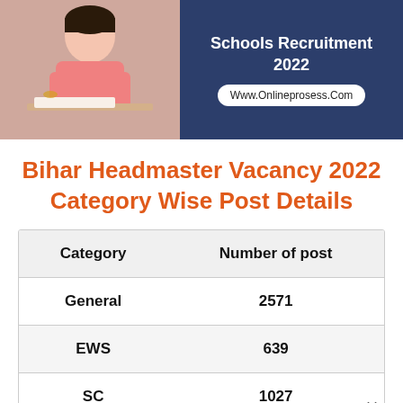[Figure (photo): Banner image split in two: left side shows a photo of a person writing/studying at a desk, right side is a dark navy background with text 'Schools Recruitment 2022' and 'Www.Onlineprosess.Com' in a white rounded pill.]
Bihar Headmaster Vacancy 2022 Category Wise Post Details
| Category | Number of post |
| --- | --- |
| General | 2571 |
| EWS | 639 |
| SC | 1027 |